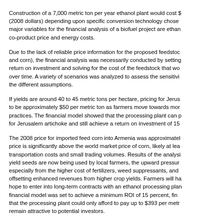Construction of a 7,000 metric ton per year ethanol plant would cost $ (2008 dollars) depending upon specific conversion technology chosen. major variables for the financial analysis of a biofuel project are ethan co-product price and energy costs.
Due to the lack of reliable price information for the proposed feedstock and corn), the financial analysis was necessarily conducted by setting return on investment and solving for the cost of the feedstock that wo over time. A variety of scenarios was analyzed to assess the sensitivi the different assumptions.
If yields are around 40 to 45 metric tons per hectare, pricing for Jerus to be approximately $50 per metric ton as farmers move towards mor practices. The financial model showed that the processing plant can p for Jerusalem artichoke and still achieve a return on investment of 15
The 2008 price for imported feed corn into Armenia was approximatel price is significantly above the world market price of corn, likely at lea transportation costs and small trading volumes. Results of the analysi yield seeds are now being used by local farmers, the upward pressur especially from the higher cost of fertilizers, weed suppressants, and offsetting enhanced revenues from higher crop yields. Farmers will ha hope to enter into long-term contracts with an ethanol processing plan financial model was set to achieve a minimum ROI of 15 percent, fina that the processing plant could only afford to pay up to $393 per metr remain attractive to potential investors.